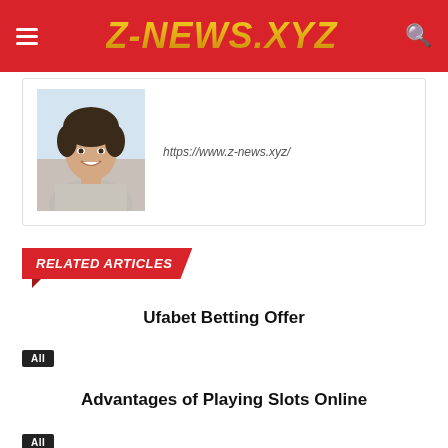Z-NEWS.XYZ
https://www.z-news.xyz/
[Figure (photo): Smiling young man with curly dark hair wearing a light grey shirt, photographed outdoors]
RELATED ARTICLES
Ufabet Betting Offer
All
Advantages of Playing Slots Online
All